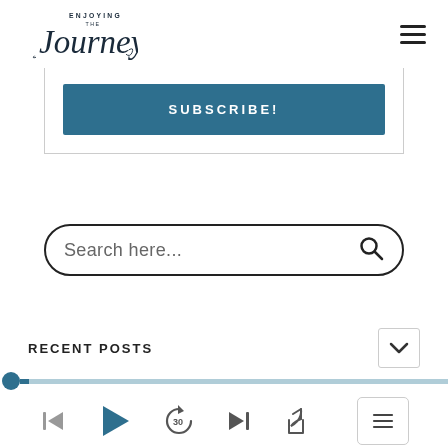[Figure (logo): Enjoying the Journey cursive script logo with 'ENJOYING THE' in small caps above 'Journey' in large cursive font]
[Figure (infographic): Hamburger menu icon (three horizontal lines) in top right corner]
[Figure (infographic): Subscribe button section - teal/dark blue button with 'SUBSCRIBE!' text in white letter-spaced caps, inside a bordered box]
[Figure (infographic): Search bar with 'Search here...' placeholder text and magnifying glass icon, pill-shaped with thick border]
RECENT POSTS
[Figure (infographic): Audio player progress bar with dark teal dot at left and teal track line extending to right]
[Figure (infographic): Audio player controls: skip-back, play, replay-30, skip-forward, share buttons, and playlist icon button]